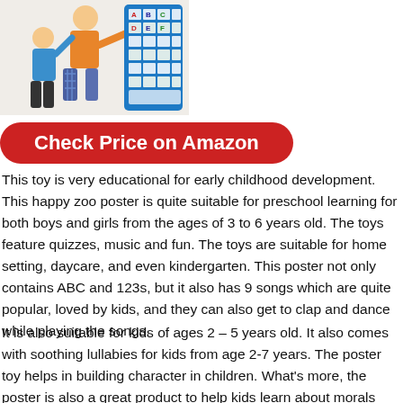[Figure (photo): Adult and child pointing at an interactive educational alphabet/zoo poster mounted on a blue board]
Check Price on Amazon
This toy is very educational for early childhood development. This happy zoo poster is quite suitable for preschool learning for both boys and girls from the ages of 3 to 6 years old. The toys feature quizzes, music and fun. The toys are suitable for home setting, daycare, and even kindergarten. This poster not only contains ABC and 123s, but it also has 9 songs which are quite popular, loved by kids, and they can also get to clap and dance while playing the songs.
It is also suitable for kids of ages 2 – 5 years old. It also comes with soothing lullabies for kids from age 2-7 years. The poster toy helps in building character in children. What's more, the poster is also a great product to help kids learn about morals and virtues.